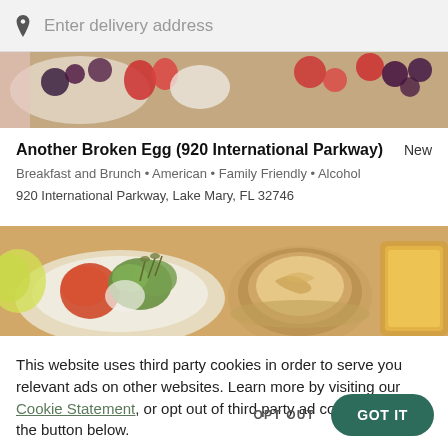Enter delivery address
[Figure (photo): Top food photo showing berries, fruits, and breakfast items on plates]
Another Broken Egg (920 International Parkway)
New
Breakfast and Brunch • American • Family Friendly • Alcohol
920 International Parkway, Lake Mary, FL 32746
[Figure (photo): Bottom food photo showing bowl of colorful food, latte coffee, and toast on a tray]
This website uses third party cookies in order to serve you relevant ads on other websites. Learn more by visiting our Cookie Statement, or opt out of third party ad cookies using the button below.
OPT OUT
GOT IT